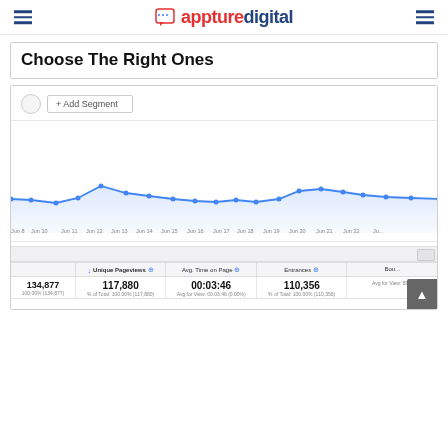appturedigital
Choose The Right Ones
[Figure (screenshot): Google Analytics screenshot showing a line chart of pageviews over time from Jun 8 to Jun 22+, with a stats table below showing Unique Pageviews: 117,880, Avg. Time on Page: 00:03:46, Entrances: 110,356, with subtotals and percentages. Also shows Add Segment UI element.]